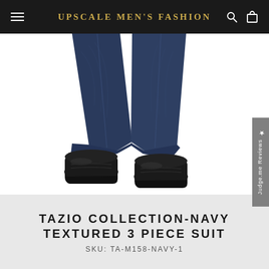UPscale Men's Fashion
[Figure (photo): Close-up photo of a man's lower body wearing navy blue textured suit trousers and black dress shoes/boots, white background]
TAZIO COLLECTION-NAVY TEXTURED 3 PIECE SUIT
SKU: TA-M158-NAVY-1